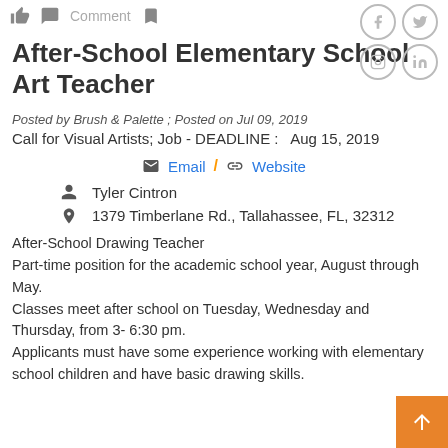Comment
After-School Elementary School Art Teacher
Posted by Brush & Palette ; Posted on  Jul 09, 2019
Call for Visual Artists; Job - DEADLINE :   Aug 15, 2019
Email / Website
Tyler Cintron
1379 Timberlane Rd., Tallahassee, FL, 32312
After-School Drawing Teacher
Part-time position for the academic school year, August through May.
Classes meet after school on Tuesday, Wednesday and Thursday, from 3- 6:30 pm.
Applicants must have some experience working with elementary school children and have basic drawing skills.